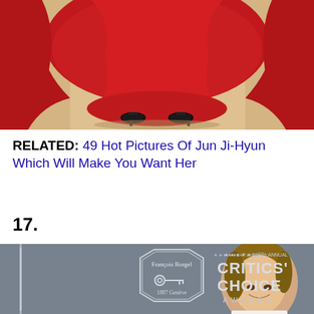[Figure (photo): Bottom portion of a person wearing a long red dress/gown with black heels, photographed from below on a beige/sandy surface]
RELATED: 49 Hot Pictures Of Jun Ji-Hyun Which Will Make You Want Her
17.
[Figure (photo): Woman smiling at the 24th Annual Critics' Choice Awards, with Francois Borgel 1887 Geneve logo visible in background]